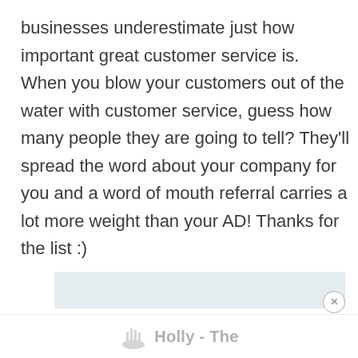businesses underestimate just how important great customer service is. When you blow your customers out of the water with customer service, guess how many people they are going to tell? They'll spread the word about your company for you and a word of mouth referral carries a lot more weight than your AD! Thanks for the list :)
REPLY TO THIS COMMENT
[Figure (other): Advertisement banner placeholder with light gray background]
Holly - The